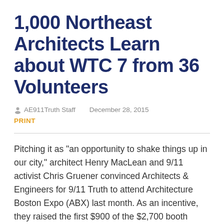1,000 Northeast Architects Learn about WTC 7 from 36 Volunteers
AE911Truth Staff   December 28, 2015
PRINT
Pitching it as "an opportunity to shake things up in our city," architect Henry MacLean and 9/11 activist Chris Gruener convinced Architects & Engineers for 9/11 Truth to attend Architecture Boston Expo (ABX) last month. As an incentive, they raised the first $900 of the $2,700 booth space fee. From there, we were off to the races.